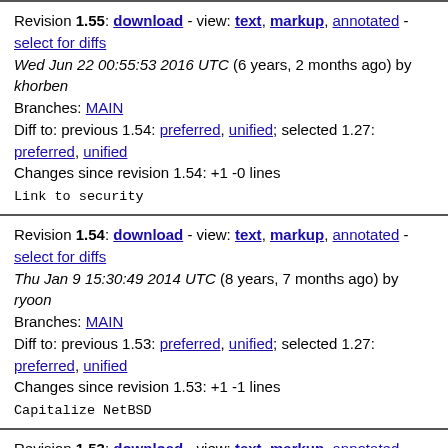Revision 1.55: download - view: text, markup, annotated - select for diffs
Wed Jun 22 00:55:53 2016 UTC (6 years, 2 months ago) by khorben
Branches: MAIN
Diff to: previous 1.54: preferred, unified; selected 1.27: preferred, unified
Changes since revision 1.54: +1 -0 lines
Link to security
Revision 1.54: download - view: text, markup, annotated - select for diffs
Thu Jan 9 15:30:49 2014 UTC (8 years, 7 months ago) by ryoon
Branches: MAIN
Diff to: previous 1.53: preferred, unified; selected 1.27: preferred, unified
Changes since revision 1.53: +1 -1 lines
Capitalize NetBSD
Revision 1.53: download - view: text, markup, annotated - select for diffs
Tue Dec 24 09:50:23 2013 UTC (8 years, 8 months ago) by mlelstv